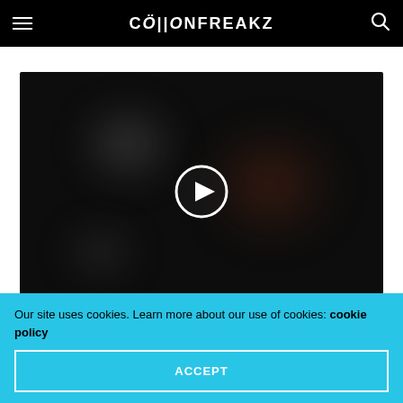COLLONFREAKZ
[Figure (screenshot): Dark video thumbnail with a white circular play button in the center. Blurred dark background with slight brownish-red glow on the right side.]
Our site uses cookies. Learn more about our use of cookies: cookie policy
ACCEPT